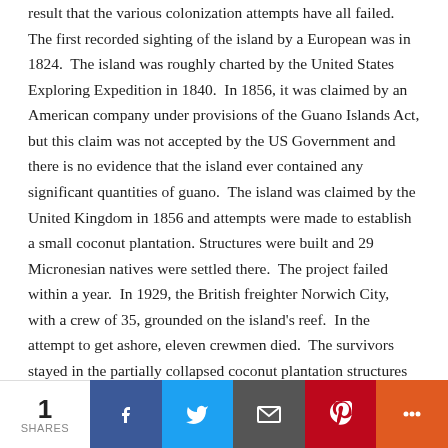result that the various colonization attempts have all failed. The first recorded sighting of the island by a European was in 1824. The island was roughly charted by the United States Exploring Expedition in 1840. In 1856, it was claimed by an American company under provisions of the Guano Islands Act, but this claim was not accepted by the US Government and there is no evidence that the island ever contained any significant quantities of guano. The island was claimed by the United Kingdom in 1856 and attempts were made to establish a small coconut plantation. Structures were built and 29 Micronesian natives were settled there. The project failed within a year. In 1929, the British freighter Norwich City, with a crew of 35, grounded on the island's reef. In the attempt to get ashore, eleven crewmen died. The survivors stayed in the partially collapsed coconut plantation structures until they were rescued several days later. In 1938, the British Government again tried to establish a settlement on Gardner Island, but this was abandoned after a year. During World War II, the US Coast Guard operated a Loran station on the island. The island's name was officially changed to Nikumaroro when Kiribati gained its independence in 1979. Some contend that Amelia Earhart and
1 SHARES